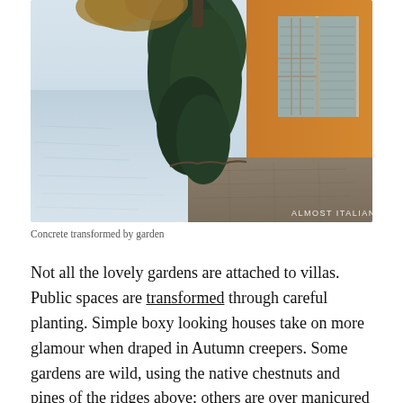[Figure (photo): A scenic lakeside photograph showing an orange-painted building with grey shuttered windows on the right, a large dark green tree/hedge in the center, a calm grey-blue lake on the left, and a watermarked text 'ALMOST ITALIAN' in the bottom right corner.]
Concrete transformed by garden
Not all the lovely gardens are attached to villas. Public spaces are transformed through careful planting. Simple boxy looking houses take on more glamour when draped in Autumn creepers. Some gardens are wild, using the native chestnuts and pines of the ridges above: others are over manicured and formal. The synergy of garden and built